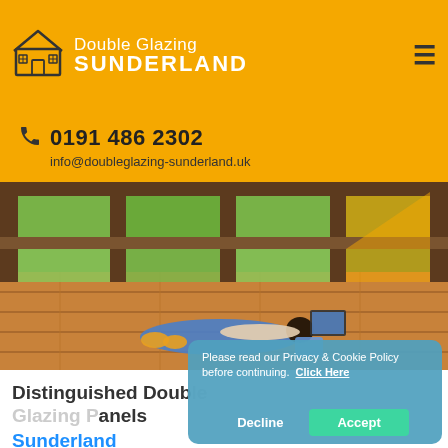Double Glazing SUNDERLAND
0191 486 2302
info@doubleglazing-sunderland.uk
[Figure (photo): Woman lying on wooden floor working on laptop with large wooden-framed double glazed windows in background showing garden]
Distinguished Double Glazing Panels Sunderland
Please read our Privacy & Cookie Policy before continuing. Click Here
Decline  Accept